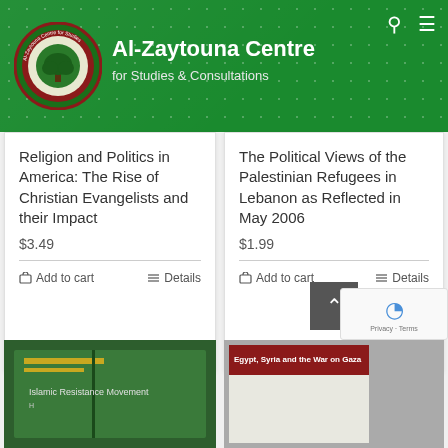[Figure (logo): Al-Zaytouna Centre logo with tree emblem in circular badge]
Al-Zaytouna Centre
for Studies & Consultations
Religion and Politics in America: The Rise of Christian Evangelists and their Impact
$3.49
Add to cart
Details
The Political Views of the Palestinian Refugees in Lebanon as Reflected in May 2006
$1.99
Add to cart
Details
[Figure (photo): Book cover for Islamic Resistance Movement on green background]
[Figure (photo): Book cover for Egypt, Syria and the War on Gaza]